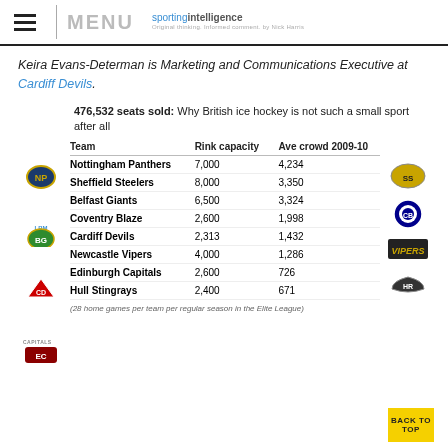MENU | sportingintelligence
Keira Evans-Determan is Marketing and Communications Executive at Cardiff Devils.
476,532 seats sold: Why British ice hockey is not such a small sport after all
| Team | Rink capacity | Ave crowd 2009-10 |
| --- | --- | --- |
| Nottingham Panthers | 7,000 | 4,234 |
| Sheffield Steelers | 8,000 | 3,350 |
| Belfast Giants | 6,500 | 3,324 |
| Coventry Blaze | 2,600 | 1,998 |
| Cardiff Devils | 2,313 | 1,432 |
| Newcastle Vipers | 4,000 | 1,286 |
| Edinburgh Capitals | 2,600 | 726 |
| Hull Stingrays | 2,400 | 671 |
(28 home games per team per regular season in the Elite League)